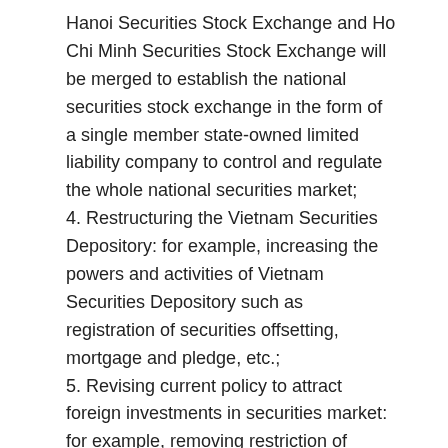Hanoi Securities Stock Exchange and Ho Chi Minh Securities Stock Exchange will be merged to establish the national securities stock exchange in the form of a single member state-owned limited liability company to control and regulate the whole national securities market;
4. Restructuring the Vietnam Securities Depository: for example, increasing the powers and activities of Vietnam Securities Depository such as registration of securities offsetting, mortgage and pledge, etc.;
5. Revising current policy to attract foreign investments in securities market: for example, removing restriction of maximum ratio of 49% foreign invested capital applicable to conditional sectors (not committed under WTO services schedule of Vietnam); and
6. Improving the quality and time of information disclosure obligations, increasing the transparency of the securities market.
Notable comments on Vietnam's adoption of